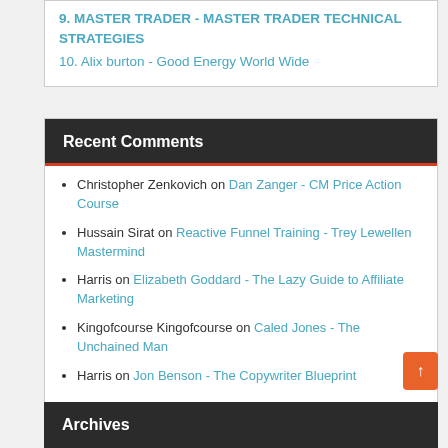9. MASTER TRADER - MASTER TRADER TECHNICAL STRATEGIES
10. Alix burton - Good Energy World Wide
Recent Comments
Christopher Zenkovich on Dan Zanger - CM Price Action Course
Hussain Sirat on Reactive Funnel Training - Trey Lewellen Mastermind
Harris on Elizabeth Goddard - The Lazy Guide to Affiliate Marketing
Kingofcourse Kingofcourse on Caled Jones - The Unchained Man
Harris on Jon Benson - The Copywriter Blueprint
Archives